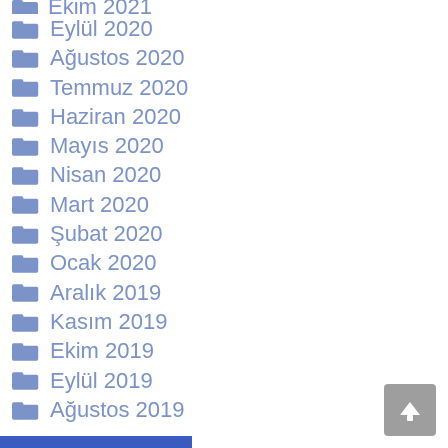Ekim 2021 (partial, clipped at top)
Eylül 2020
Ağustos 2020
Temmuz 2020
Haziran 2020
Mayıs 2020
Nisan 2020
Mart 2020
Şubat 2020
Ocak 2020
Aralık 2019
Kasım 2019
Ekim 2019
Eylül 2019
Ağustos 2019